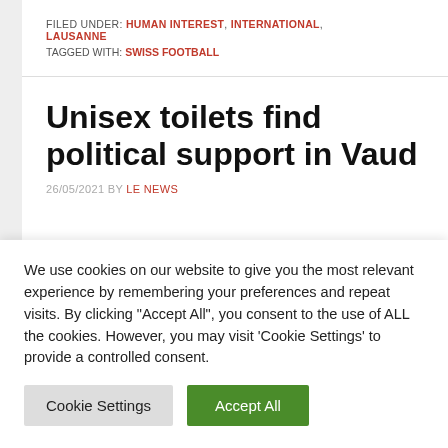FILED UNDER: HUMAN INTEREST, INTERNATIONAL, LAUSANNE
TAGGED WITH: SWISS FOOTBALL
Unisex toilets find political support in Vaud
26/05/2021 BY LE NEWS
We use cookies on our website to give you the most relevant experience by remembering your preferences and repeat visits. By clicking "Accept All", you consent to the use of ALL the cookies. However, you may visit 'Cookie Settings' to provide a controlled consent.